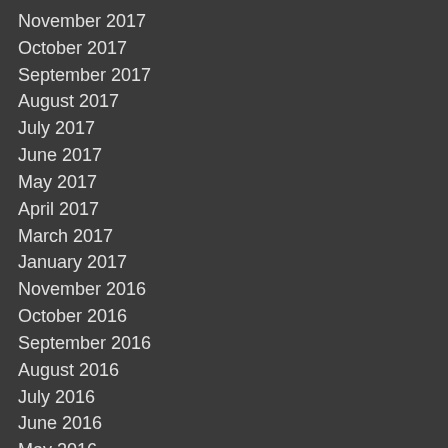November 2017
October 2017
September 2017
August 2017
July 2017
June 2017
May 2017
April 2017
March 2017
January 2017
November 2016
October 2016
September 2016
August 2016
July 2016
June 2016
May 2016
April 2016
March 2016
February 2016